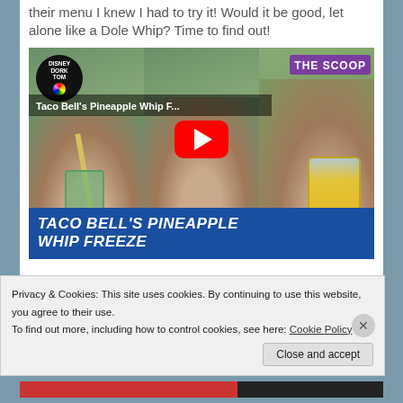their menu I knew I had to try it! Would it be good, let alone like a Dole Whip? Time to find out!
[Figure (screenshot): YouTube video thumbnail for 'Taco Bell's Pineapple Whip Freeze' by Disney Dork Tom, showing a man drinking from a green cup, a surprised man with YouTube play button overlay, and a hand holding a yellow frozen drink. Blue banner reads 'TACO BELL'S PINEAPPLE WHIP FREEZE'.]
May 30, 2020   0
Privacy & Cookies: This site uses cookies. By continuing to use this website, you agree to their use.
To find out more, including how to control cookies, see here: Cookie Policy
Close and accept